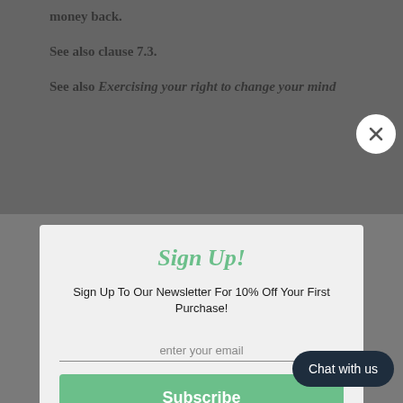money back.
See also clause 7.3.
See also Exercising your right to change your mind
[Figure (screenshot): Sign Up modal popup with green title 'Sign Up!', subtitle 'Sign Up To Our Newsletter For 10% Off Your First Purchase!', email input field, Subscribe button, and Powered by omnisend branding]
wright@wrightsplastics.co.uk for a returns label or to arrange collection.
12. Your rights in respect of defective products if you